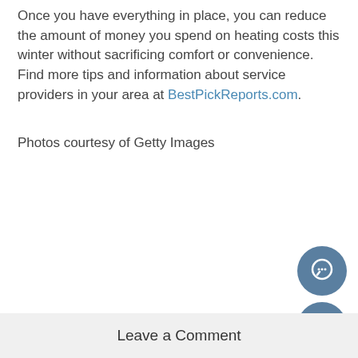Once you have everything in place, you can reduce the amount of money you spend on heating costs this winter without sacrificing comfort or convenience. Find more tips and information about service providers in your area at BestPickReports.com.
Photos courtesy of Getty Images
Leave a Comment